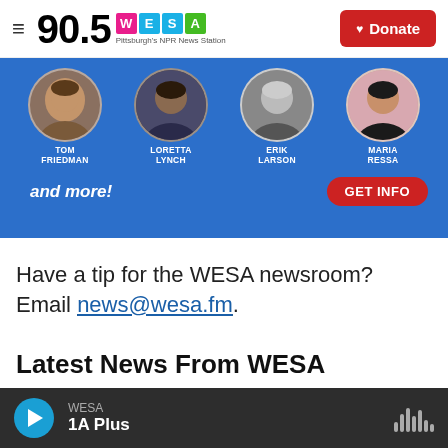90.5 WESA Pittsburgh's NPR News Station | Donate
[Figure (photo): Advertisement banner with blue background featuring circular portrait photos of Tom Friedman, Loretta Lynch, Erik Larson, Maria Ressa with 'and more!' text and red GET INFO button]
Have a tip for the WESA newsroom? Email news@wesa.fm.
Latest News From WESA
WESA | 1A Plus (audio player bar)